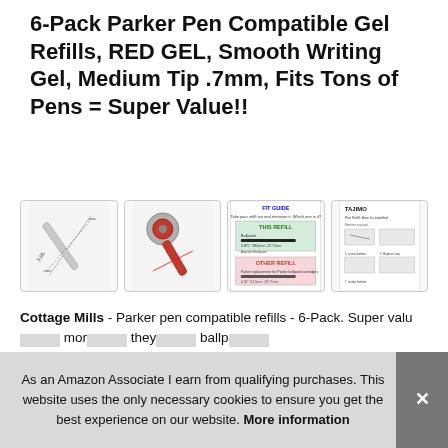6-Pack Parker Pen Compatible Gel Refills, RED GEL, Smooth Writing Gel, Medium Tip .7mm, Fits Tons of Pens = Super Value!!
[Figure (photo): Four thumbnail images: (1) a diagonal pen refill with measurement arrows, (2) close-up of red pen refill tip detail, (3) a fit guide chart comparing 'THIS REFILL' vs 'OTHER REFILL' with measurements, (4) Tajima-branded pen refill instruction sheet]
Cottage Mills - Parker pen compatible refills - 6-Pack. Super value ... more ... they ... ballp...
As an Amazon Associate I earn from qualifying purchases. This website uses the only necessary cookies to ensure you get the best experience on our website. More information